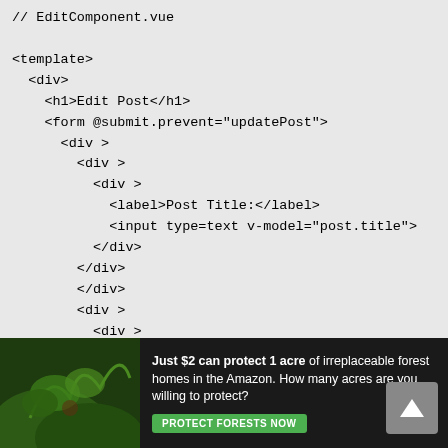// EditComponent.vue

<template>
  <div>
    <h1>Edit Post</h1>
    <form @submit.prevent="updatePost">
      <div >
        <div >
          <div >
            <label>Post Title:</label>
            <input type=text v-model="post.title">
          </div>
        </div>
        </div>
        <div >
          <div >
          <div >
            <label>Post Body:</label>
            <textarea v-model="post.body" rows="5">
</textarea>
            </div>
          </div>
        </div><br />
        <div >
[Figure (other): Advertisement banner: 'Just $2 can protect 1 acre of irreplaceable forest homes in the Amazon. How many acres are you willing to protect?' with a green 'PROTECT FORESTS NOW' button and a rainforest background image. A scroll-to-top button is visible on the right.]